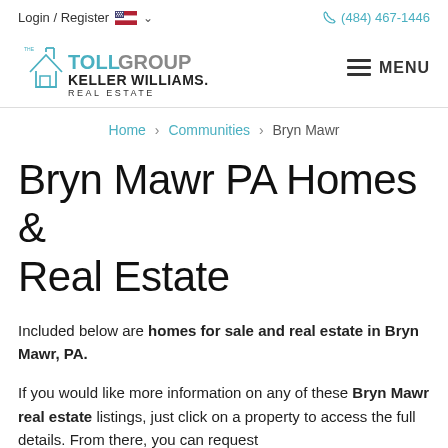Login / Register  🇺🇸 ∨    (484) 467-1446
[Figure (logo): The Toll Group Keller Williams Real Estate logo with house icon in cyan/blue line art, alongside MENU button with hamburger icon]
Home > Communities > Bryn Mawr
Bryn Mawr PA Homes & Real Estate
Included below are homes for sale and real estate in Bryn Mawr, PA.
If you would like more information on any of these Bryn Mawr real estate listings, just click on a property to access the full details. From there, you can request